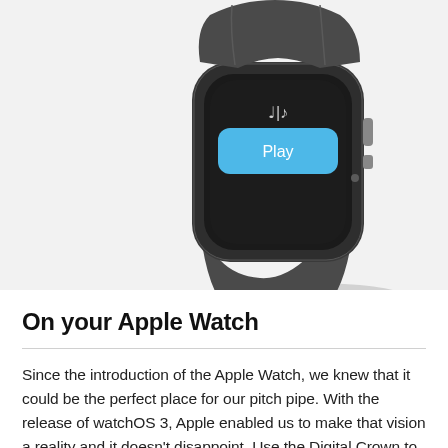[Figure (photo): Apple Watch (dark grey/graphite) shown from the front-left angle, with the screen displaying a blue 'Play' button and a music/pitch pipe icon at the top. The watch has a dark grey sport band.]
On your Apple Watch
Since the introduction of the Apple Watch, we knew that it could be the perfect place for our pitch pipe. With the release of watchOS 3, Apple enabled us to make that vision a reality and it doesn't disappoint. Use the Digital Crown to select your note, and tap the 'play' button to play it on the Apple Watch!